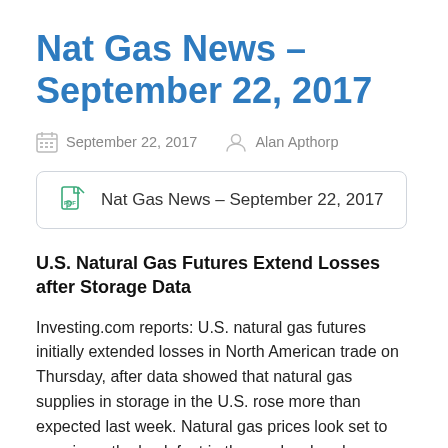Nat Gas News – September 22, 2017
September 22, 2017   Alan Apthorp
Nat Gas News – September 22, 2017
U.S. Natural Gas Futures Extend Losses after Storage Data
Investing.com reports: U.S. natural gas futures initially extended losses in North American trade on Thursday, after data showed that natural gas supplies in storage in the U.S. rose more than expected last week. Natural gas prices look set to remain on the back foot in the weeks ahead as traders react to the reality that higher